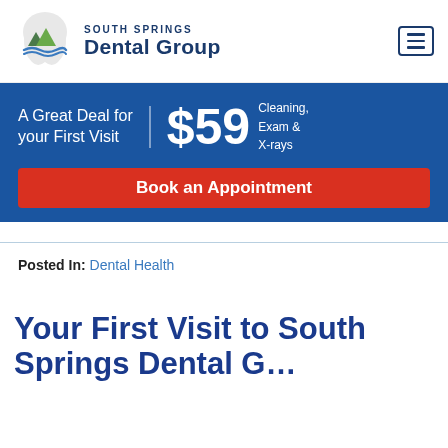[Figure (logo): South Springs Dental Group logo with tooth and mountain icon]
[Figure (infographic): Promotional banner: A Great Deal for your First Visit | $59 Cleaning, Exam & X-rays | Book an Appointment button]
Posted In: Dental Health
Your First Visit to South Springs Dental G…